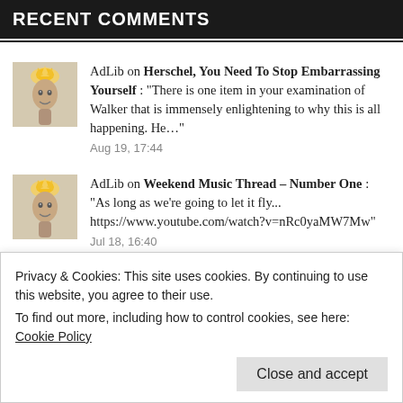RECENT COMMENTS
AdLib on Herschel, You Need To Stop Embarrassing Yourself : "There is one item in your examination of Walker that is immensely enlightening to why this is all happening. He…" Aug 19, 17:44
AdLib on Weekend Music Thread – Number One : "As long as we're going to let it fly... https://www.youtube.com/watch?v=nRc0yaMW7Mw" Jul 18, 16:40
Privacy & Cookies: This site uses cookies. By continuing to use this website, you agree to their use.
To find out more, including how to control cookies, see here: Cookie Policy
Close and accept
Pink Floyd The Narrow Way (Part 2)